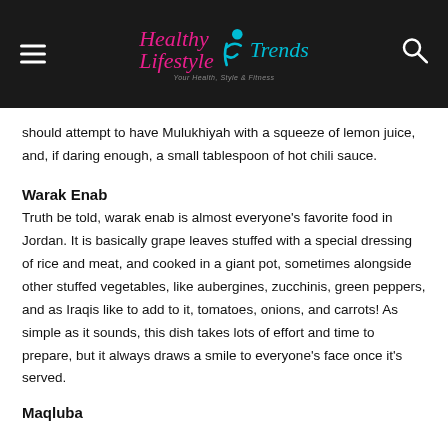Healthy Lifestyle Trends
should attempt to have Mulukhiyah with a squeeze of lemon juice, and, if daring enough, a small tablespoon of hot chili sauce.
Warak Enab
Truth be told, warak enab is almost everyone's favorite food in Jordan. It is basically grape leaves stuffed with a special dressing of rice and meat, and cooked in a giant pot, sometimes alongside other stuffed vegetables, like aubergines, zucchinis, green peppers, and as Iraqis like to add to it, tomatoes, onions, and carrots! As simple as it sounds, this dish takes lots of effort and time to prepare, but it always draws a smile to everyone's face once it's served.
Maqluba